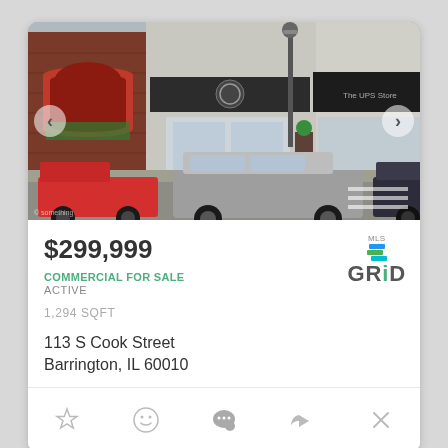[Figure (photo): Street view photo of a commercial downtown block with brick buildings, storefronts including The UPS Store, cars parked on street, lamp posts]
$299,999
COMMERCIAL FOR SALE
ACTIVE
1,294 SQFT
113 S Cook Street
Barrington, IL 60010
[Figure (logo): MLS GRiD logo with colorful layered squares icon]
Action bar icons: star, smiley, chat, share, close